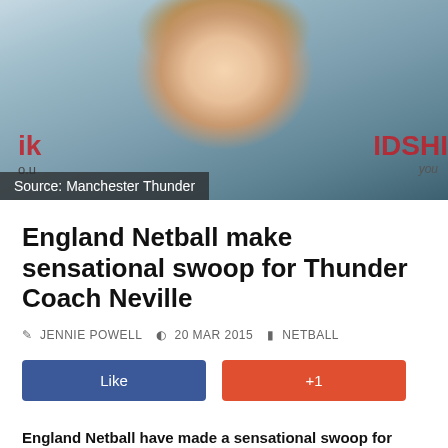[Figure (photo): Photo of a woman with long blonde hair smiling, wearing a black jacket and yellow top, in front of branded backdrops including Manchester Thunder logos.]
Source: Manchester Thunder
England Netball make sensational swoop for Thunder Coach Neville
✎  JENNIE POWELL    🕐  20 MAR 2015    ▤  NETBALL
[Figure (other): Like button (blue) and +1 button (red/orange)]
England Netball have made a sensational swoop for Manchester Thunder head coach Tracey Neville. Neville